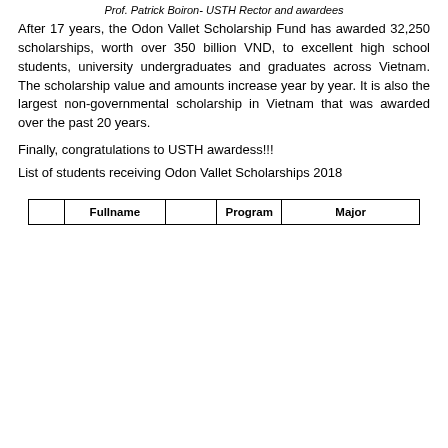Prof. Patrick Boiron- USTH Rector and awardees
After 17 years, the Odon Vallet Scholarship Fund has awarded 32,250 scholarships, worth over 350 billion VND, to excellent high school students, university undergraduates and graduates across Vietnam. The scholarship value and amounts increase year by year. It is also the largest non-governmental scholarship in Vietnam that was awarded over the past 20 years.
Finally, congratulations to USTH awardess!!!
List of students receiving Odon Vallet Scholarships 2018
|  | Fullname |  | Program | Major |
| --- | --- | --- | --- | --- |